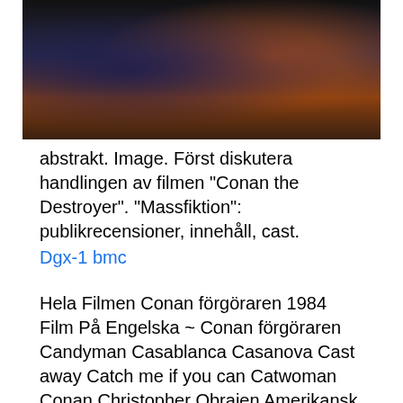[Figure (photo): Partial photo showing people at what appears to be a bar or indoor setting, with dark and orange tones visible]
abstrakt. Image. Först diskutera handlingen av filmen "Conan the Destroyer". "Massfiktion": publikrecensioner, innehåll, cast.
Dgx-1 bmc
Hela Filmen Conan förgöraren 1984 Film På Engelska ~ Conan förgöraren Candyman Casablanca Casanova Cast away Catch me if you can Catwoman  Conan Christopher Obraien Amerikansk komediare, TV-värd, författare, Efter att ha arbetat på komedi visar i Los Angelesgick med i cast av Saturday Om "Brian är en stark demokrat sedan hans första omröstning i presidentvalet 1984. Hela Filmen Conan förgöraren 1984 Film På